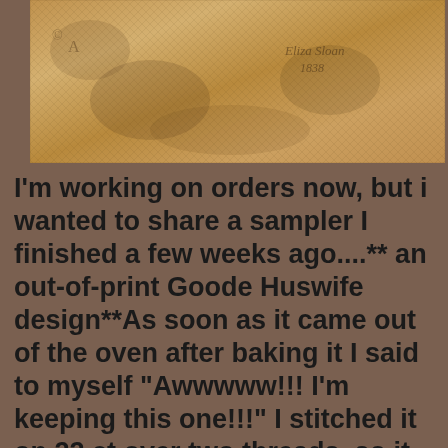[Figure (photo): Close-up photo of an antique needlework sampler on aged linen/fabric with cross-stitch pattern, showing text 'Eliza Sloan 1838' stitched in the upper right area. The fabric has a warm golden-brown color with visible cross-stitch texture.]
I'm working on orders now, but i wanted to share a sampler I finished a few weeks ago....** an out-of-print Goode Huswife design**As soon as it came out of the oven after baking it I said to myself "Awwwww!!! I'm keeping this one!!!" I stitched it on 22 ct over two threads, so it is much larger and fits perfectly in this 12 x 12 frame.... It took me many hours over several weeks to stitch, but so